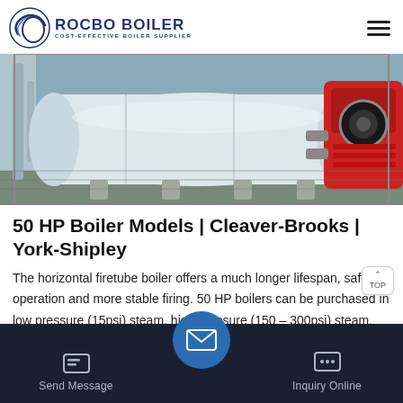[Figure (logo): ROCBO BOILER logo with circular icon and text 'COST-EFFECTIVE BOILER SUPPLIER']
[Figure (photo): Photograph of a horizontal firetube boiler with red burner attached, in an industrial setting]
50 HP Boiler Models | Cleaver-Brooks | York-Shipley
The horizontal firetube boiler offers a much longer lifespan, safe operation and more stable firing. 50 HP boilers can be purchased in low pressure (15psi) steam, high pressure (150 – 300psi) steam, hot water and high temperature hot water configurations. Below …
[Figure (other): Green 'Get Price' button]
Send Message | Inquiry Online